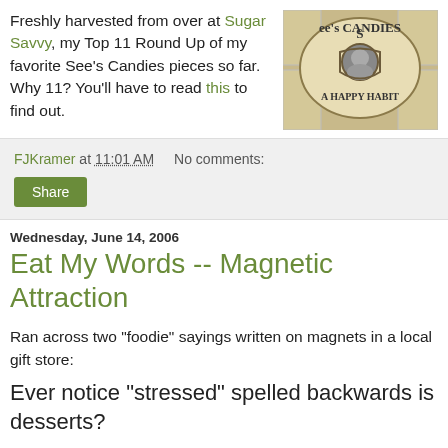Freshly harvested from over at Sugar Savvy, my Top 11 Round Up of my favorite See's Candies pieces so far. Why 11? You'll have to read this to find out.
[Figure (photo): See's Candies storefront logo with 'See's Candies A Happy Habit' text and a portrait medallion]
FJKramer at 11:01 AM   No comments:
Share
Wednesday, June 14, 2006
Eat My Words -- Magnetic Attraction
Ran across two "foodie" sayings written on magnets in a local gift store:
Ever notice "stressed" spelled backwards is desserts?